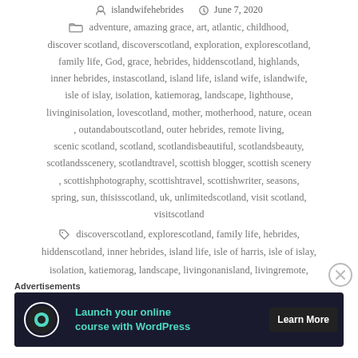islandwifehebrides  June 7, 2020
adventure, amazing grace, art, atlantic, childhood, discover scotland, discoverscotland, exploration, explorescotland, family life, God, grace, hebrides, hiddenscotland, highlands, inner hebrides, instascotland, island life, island wife, islandwife, isle of islay, isolation, katiemorag, landscape, lighthouse, livinginisolation, lovescotland, mother, motherhood, nature, ocean, outandaboutscotland, outer hebrides, remote living, scenic scotland, scotland, scotlandisbeautiful, scotlandsbeauty, scotlandsscenery, scotlandtravel, scottish blogger, scottish scenery, scottishphotography, scottishtravel, scottishwriter, seasons, spring, sun, thisisscotland, uk, unlimitedscotland, visit scotland, visitscotland
discoverscotland, explorescotland, family life, hebrides, hiddenscotland, inner hebrides, island life, isle of harris, isle of islay, isolation, katiemorag, landscape, livingonanisland, livingremote,
Advertisements
[Figure (infographic): Advertisement banner: dark background with circular icon on left, teal text 'Launch your online course with WordPress', and 'Learn More' button on right]